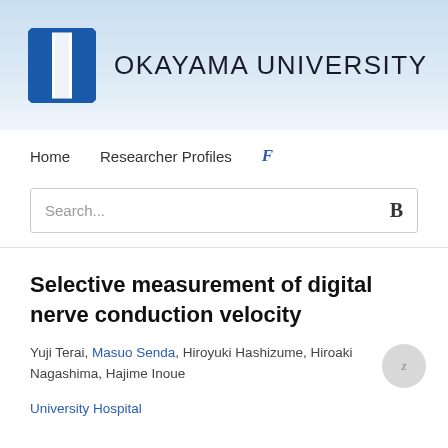[Figure (logo): Okayama University logo with blue shield/book icon and university name text]
Home   Researcher Profiles   F
Search...   B
Selective measurement of digital nerve conduction velocity
Yuji Terai, Masuo Senda, Hiroyuki Hashizume, Hiroaki Nagashima, Hajime Inoue
University Hospital